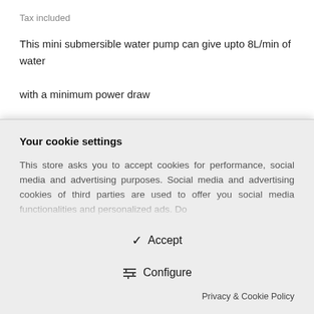Tax included
This mini submersible water pump can give upto 8L/min of water with a minimum power draw
Quantity
[Figure (screenshot): Quantity selector with number box showing '1', up/down arrows, and an ADD TO CART button with cart icon]
Your cookie settings
This store asks you to accept cookies for performance, social media and advertising purposes. Social media and advertising cookies of third parties are used to offer you
✓ Accept
Configure
Privacy & Cookie Policy